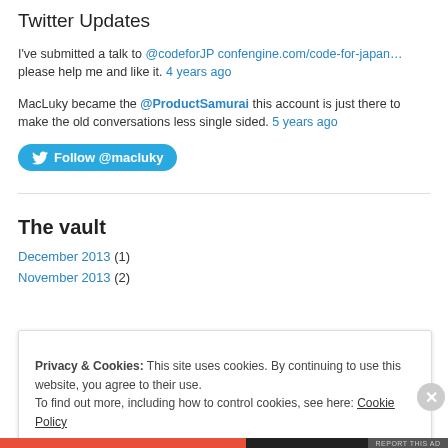Twitter Updates
I've submitted a talk to @codeforJP confengine.com/code-for-japan… please help me and like it. 4 years ago
MacLuky became the @ProductSamurai this account is just there to make the old conversations less single sided. 5 years ago
[Figure (other): Follow @macluky button on Twitter (blue rounded button with Twitter bird icon)]
The vault
December 2013 (1)
November 2013 (2)
Privacy & Cookies: This site uses cookies. By continuing to use this website, you agree to their use. To find out more, including how to control cookies, see here: Cookie Policy
Close and accept